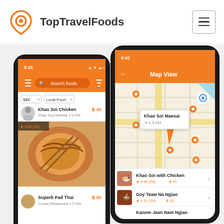[Figure (logo): TopTravelFoods orange location pin logo icon]
TopTravelFoods
[Figure (screenshot): Mobile app screenshot showing food list view with Khao Soi Chicken and Superb Pad Thai listings, orange search bar, filter tags $$ and Local Food, food photo of curry dish]
[Figure (screenshot): Mobile app screenshot showing Map View with orange pin markers on street map, Khao Soi Maesai popup, and list of Khao Soi with Chicken (4.86/58 reviews, B45), Goy Teaw Na Ngiao (4.51/29 reviews, B30), Kanom Jean Nam Ngiao]